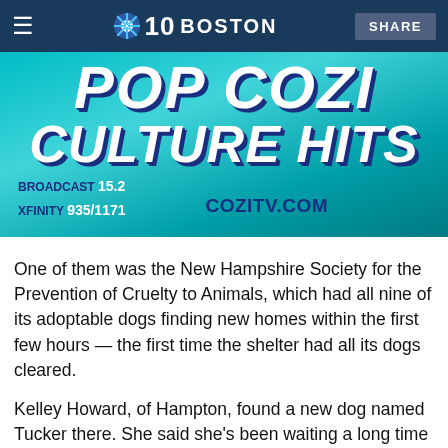≡  NBC 10 BOSTON  SHARE
[Figure (screenshot): Advertisement banner for COZI TV showing 'POP COZI CULTURE HITS' text with broadcast info: BROADCAST 15.2, XFINITY 935/1171, COZITV.COM]
One of them was the New Hampshire Society for the Prevention of Cruelty to Animals, which had all nine of its adoptable dogs finding new homes within the first few hours — the first time the shelter had all its dogs cleared.
Kelley Howard, of Hampton, found a new dog named Tucker there. She said she's been waiting a long time for this day.
"We were looking at another dog earlier and he was already